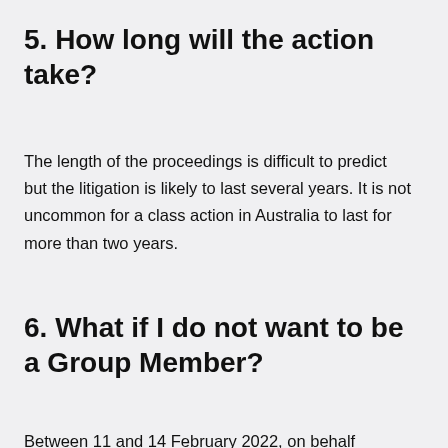5. How long will the action take?
The length of the proceedings is difficult to predict but the litigation is likely to last several years. It is not uncommon for a class action in Australia to last for more than two years.
6. What if I do not want to be a Group Member?
Between 11 and 14 February 2022, on behalf